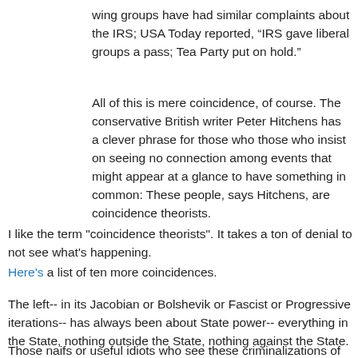wing groups have had similar complaints about the IRS; USA Today reported, “IRS gave liberal groups a pass; Tea Party put on hold.”
All of this is mere coincidence, of course. The conservative British writer Peter Hitchens has a clever phrase for those who those who insist on seeing no connection among events that might appear at a glance to have something in common: These people, says Hitchens, are coincidence theorists.
I like the term "coincidence theorists". It takes a ton of denial to not see what's happening.
Here's a list of ten more coincidences.
The left-- in its Jacobian or Bolshevik or Fascist or Progressive iterations-- has always been about State power-- everything in the State, nothing outside the State, nothing against the State.
Those naifs or useful idiots who see these criminalizations of